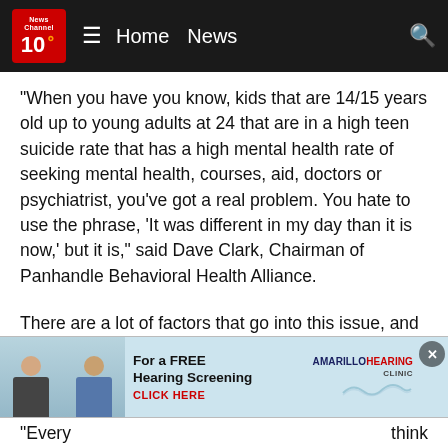News Channel 10 — Home | News
“When you have you know, kids that are 14/15 years old up to young adults at 24 that are in a high teen suicide rate that has a high mental health rate of seeking mental health, courses, aid, doctors or psychiatrist, you’ve got a real problem. You hate to use the phrase, ‘It was different in my day than it is now,’ but it is,” said Dave Clark, Chairman of Panhandle Behavioral Health Alliance.
There are a lot of factors that go into this issue, and health officials are doing their best to address all involved.
ADVERTISEMENT
[Figure (photo): Advertisement banner for Amarillo Hearing Clinic featuring two people and text: For a FREE Hearing Screening, CLICK HERE, AMARILLO HEARING CLINIC]
“Every… think